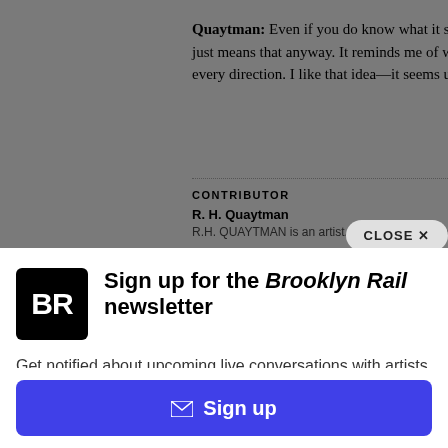Quaytman: Even if you do know what it su just means that anyway. It reminds me of wh every direction. I like that idea—it seems u
CONTRIBUTOR
R. H. Quaytman
R.H. QUAYTMAN is an artist. She lives in New Yo
Sign up for the Brooklyn Rail newsletter
Get notified about upcoming live conversations with artists and when the next issue of the Rail drops.
Sign up